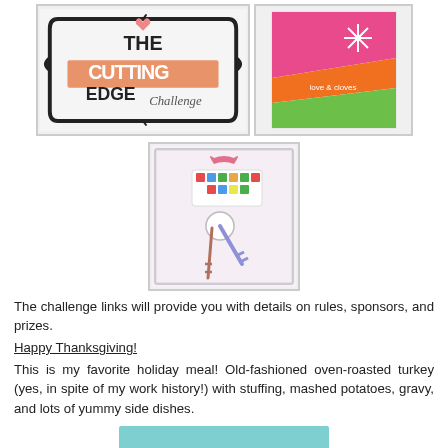[Figure (photo): The Cutting Edge Challenge logo — black decorative frame with orange/coral banner, text 'THE CUTTING EDGE Challenge']
[Figure (photo): Colorful card with pink, orange, and green diagonal stripes and a snowflake, text 'love & cloves']
[Figure (photo): Photo of decorative keys with a pink ribbon and colorful letter tiles spelling 'chicken keys']
The challenge links will provide you with details on rules, sponsors, and prizes.
Happy Thanksgiving!
This is my favorite holiday meal! Old-fashioned oven-roasted turkey (yes, in spite of my work history!) with stuffing, mashed potatoes, gravy, and lots of yummy side dishes.